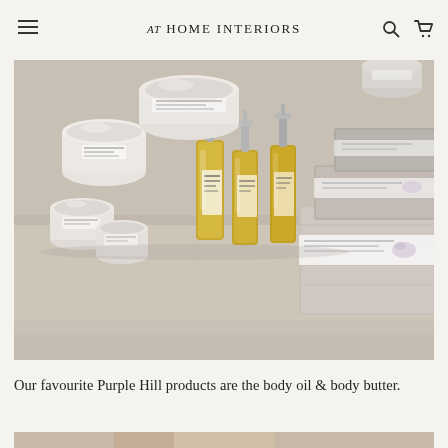AT HOME INTERIORS
[Figure (photo): A shelf or tray displaying various Purple Hill beauty and skincare products including white cream jars with silver lids, small amber/yellow oil bottles with pump dispensers, a large flat white jar, and folded grey linen sachets/bags with label ties, arranged on a pale surface.]
Our favourite Purple Hill products are the body oil & body butter.
[Figure (photo): Partial view of a second photo, cropped at the bottom of the page — shows the top edge of an image, likely featuring a person or product.]